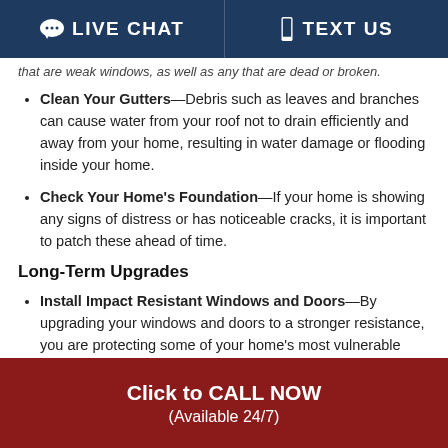LIVE CHAT   TEXT US
that are weak windows, as well as any that are dead or broken.
Clean Your Gutters—Debris such as leaves and branches can cause water from your roof not to drain efficiently and away from your home, resulting in water damage or flooding inside your home.
Check Your Home's Foundation—If your home is showing any signs of distress or has noticeable cracks, it is important to patch these ahead of time.
Long-Term Upgrades
Install Impact Resistant Windows and Doors—By upgrading your windows and doors to a stronger resistance, you are protecting some of your home's most vulnerable areas.
Upgrade to an Impact Resistant Roof— If your roof shingles
Click to CALL NOW (Available 24/7)